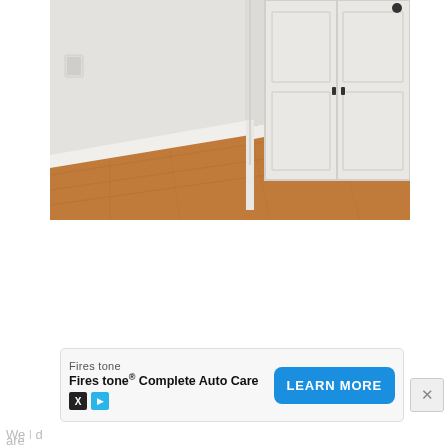[Figure (photo): Interior room photo showing white walls, white baseboard trim, hardwood floor, and white double closet doors in the corner of a room.]
[Figure (screenshot): An advertisement banner for Firestone Complete Auto Care with a blue 'LEARN MORE' button and small X and play icon buttons.]
We ... d are...
[Figure (screenshot): Close button (X) in a grey rounded square in the upper right area of the ad overlay.]